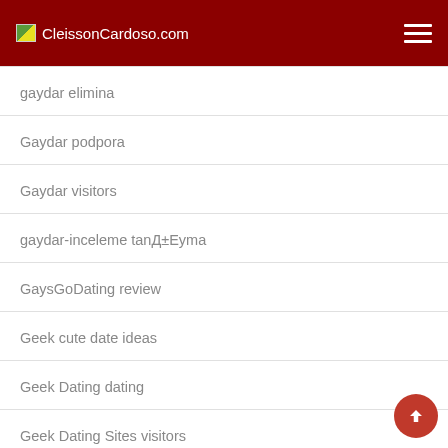CleissonCardoso.com
gaydar elimina
Gaydar podpora
Gaydar visitors
gaydar-inceleme tanД±Еyma
GaysGoDating review
Geek cute date ideas
Geek Dating dating
Geek Dating Sites visitors